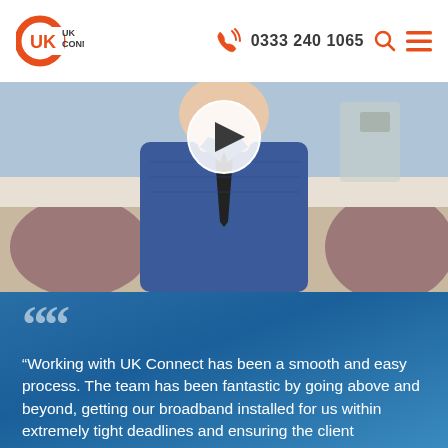UK Connect | 0333 240 1065
[Figure (screenshot): Video thumbnail showing a young man in a blue checked shirt and dark tie, seated on a white sofa with purple cushions. A circular play button overlay is visible in the upper centre of the video.]
“Working with UK Connect has been a smooth and easy process. The team has been fantastic by going above and beyond, getting our broadband installed for us within extremely tight deadlines and ensuring the client relationship is done in an efficient manner…”